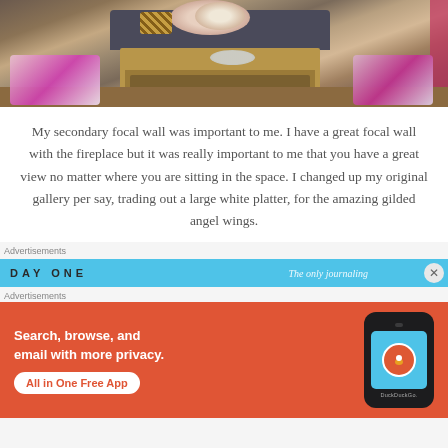[Figure (photo): Interior photo of a living room with a dark sofa, wooden coffee table with decorative items, patterned armchairs, floral arrangement, and pink curtains]
My secondary focal wall was important to me. I have a great focal wall with the fireplace but it was really important to me that you have a great view no matter where you are sitting in the space. I changed up my original gallery per say, trading out a large white platter, for the amazing gilded angel wings.
Advertisements
[Figure (screenshot): DAY ONE advertisement banner with cyan/blue background showing 'DAY ONE' text and partial text 'The only journaling']
Advertisements
[Figure (screenshot): DuckDuckGo advertisement on orange/red background showing 'Search, browse, and email with more privacy. All in One Free App' with phone mockup displaying DuckDuckGo logo]